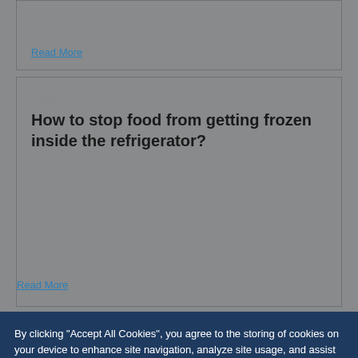Read More
1 min
How to stop food from getting frozen inside the refrigerator?
Read More
By clicking “Accept All Cookies”, you agree to the storing of cookies on your device to enhance site navigation, analyze site usage, and assist in our marketing efforts.
Cookies Settings
Accept All Cookies